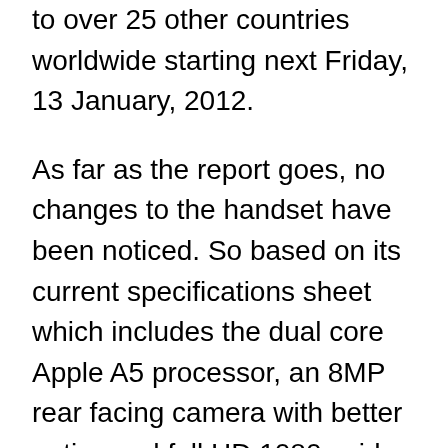to over 25 other countries worldwide starting next Friday, 13 January, 2012.
As far as the report goes, no changes to the handset have been noticed. So based on its current specifications sheet which includes the dual core Apple A5 processor, an 8MP rear facing camera with better optics and full HD 1080p video recording capabilities, the device is most likely to ship untouched. One thing's for certain, that the 4S will be equipped with the virtual personal assistant Siri and the 200 plus features